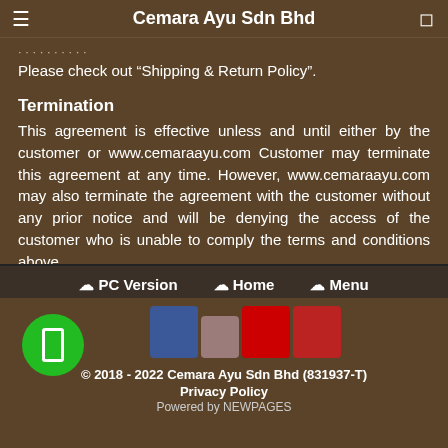Cemara Ayu Sdn Bhd
Please check out “Shipping & Return Policy”.
Termination
This agreement is effective unless and until either by the customer or www.cemaraayu.com Customer may terminate this agreement at any time. However, www.cemaraayu.com may also terminate the agreement with the customer without any prior notice and will be denying the access of the customer who is unable to comply the terms and conditions above.
❖ PC Version  ❖ Home  ❖ Menu
© 2018 - 2022 Cemara Ayu Sdn Bhd (831937-T)
Privacy Policy
Powered by NEWPAGES